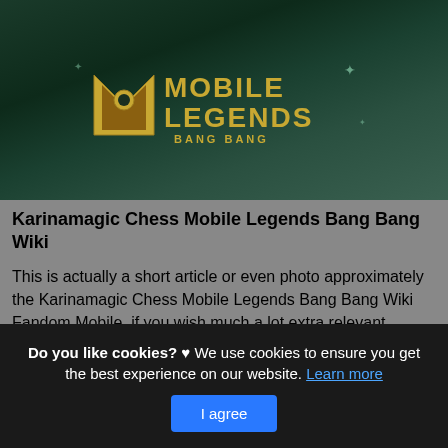[Figure (screenshot): Mobile Legends Bang Bang game logo on a dark green fantasy background with a character]
Karinamagic Chess Mobile Legends Bang Bang Wiki
This is actually a short article or even photo approximately the Karinamagic Chess Mobile Legends Bang Bang Wiki Fandom Mobile, if you wish much a lot extra relevant information around the write-up or even picture feel free to hit or even see the adhering to web link or even web link .
Do you like cookies? ♥ We use cookies to ensure you get the best experience on our website. Learn more
I agree